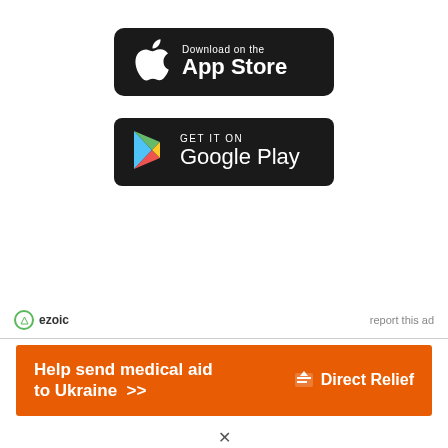[Figure (logo): Apple App Store download button — black rounded rectangle with Apple logo and text 'Download on the App Store']
[Figure (logo): Google Play download button — black rounded rectangle with Play Store triangle logo and text 'GET IT ON Google Play']
[Figure (logo): Ezoic logo with 'report this ad' text link]
[Figure (infographic): Direct Relief orange banner ad: 'Help send medical aid to Ukraine >>' with Direct Relief logo on right]